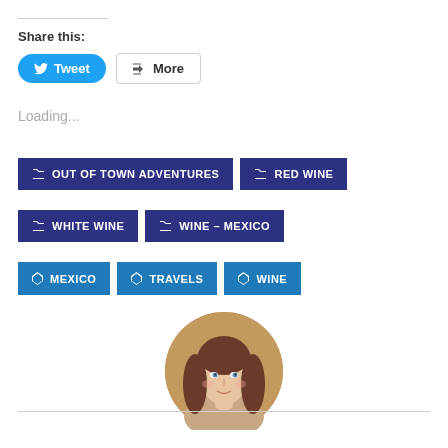Share this:
Tweet
More
Loading...
OUT OF TOWN ADVENTURES
RED WINE
WHITE WINE
WINE – MEXICO
MEXICO
TRAVELS
WINE
[Figure (photo): Circular profile photo of a young woman with long brown hair, smiling, shown from shoulders up]